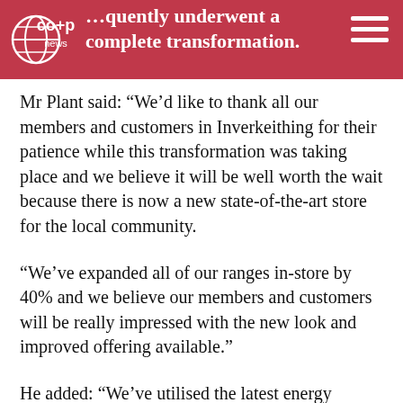…quently underwent a complete transformation.
Mr Plant said: “We’d like to thank all our members and customers in Inverkeithing for their patience while this transformation was taking place and we believe it will be well worth the wait because there is now a new state-of-the-art store for the local community.
“We’ve expanded all of our ranges in-store by 40% and we believe our members and customers will be really impressed with the new look and improved offering available.”
He added: “We’ve utilised the latest energy efficient technologies with refrigeration and lighting